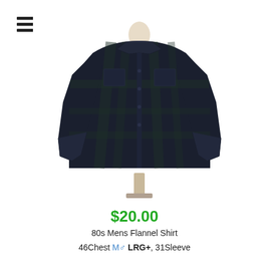[Figure (photo): A dark navy/black plaid flannel shirt displayed on a dress form/mannequin stand against a white background. The shirt has a collar, long sleeves, two chest pockets, and button front.]
$20.00
80s Mens Flannel Shirt
46Chest M♂ LRG+, 31Sleeve